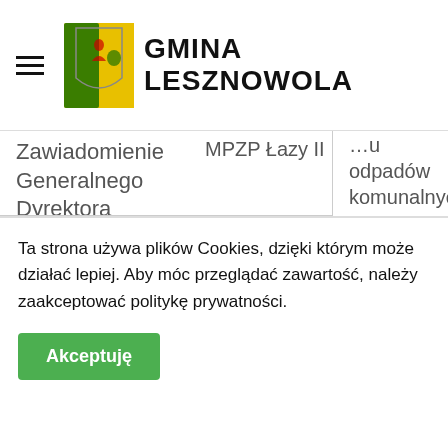Gmina Lesznowola
...u odpadów komunalnych
Zawiadomienie Generalnego Dyrektora Ochrony Środowiska z 1 lutego 2022 roku
MPZP Łazy II
Znajdź adres
Plany MPZP
Karta Mieszkańca/Bilet metropolitalny
Ogłoszenia i...
Ta strona używa plików Cookies, dzięki którym może działać lepiej. Aby móc przeglądać zawartość, należy zaakceptować politykę prywatności.
Akceptuję